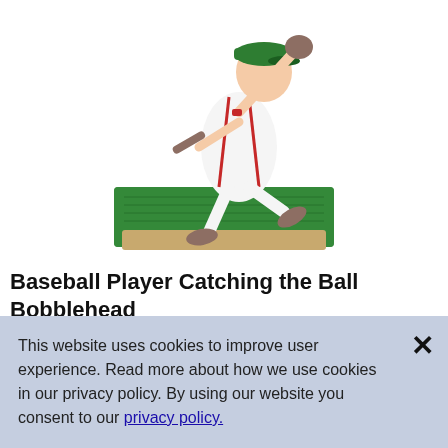[Figure (photo): Baseball player catching the ball bobblehead figurine in a white uniform with red and green accents, perched on a green grass base, jumping/diving to catch a ball]
Baseball Player Catching the Ball Bobblehead
by Bobbleheads.com
No Reviews
This website uses cookies to improve user experience. Read more about how we use cookies in our privacy policy. By using our website you consent to our privacy policy.